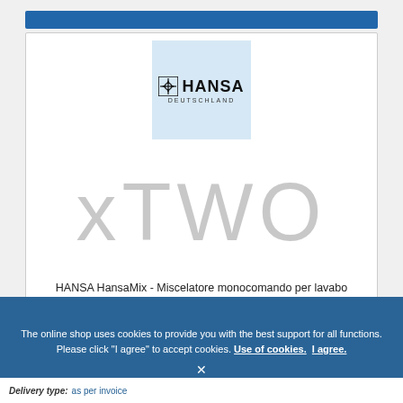[Figure (logo): HANSA Deutschland logo with compass/cross icon on light blue background]
[Figure (photo): Product image placeholder showing 'xTWO' watermark text on white background]
HANSA HansaMix - Miscelatore monocomando per lavabo Taglia XS con scarico a saltarello cromo
The online shop uses cookies to provide you with the best support for all functions. Please click "I agree" to accept cookies. Use of cookies. I agree.
Delivery type: